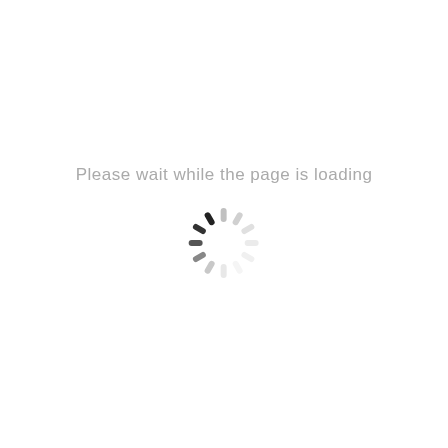Please wait while the page is loading
[Figure (other): Circular spinner/loading indicator with radial dashes in varying shades from dark gray to light gray arranged in a clock-like pattern]